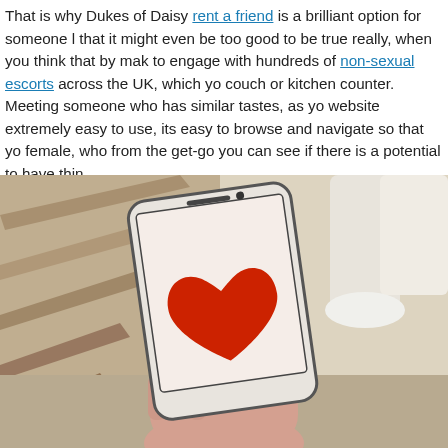That is why Dukes of Daisy rent a friend is a brilliant option for someone l... that it might even be too good to be true really, when you think that by mak... to engage with hundreds of non-sexual escorts across the UK, which yo... couch or kitchen counter. Meeting someone who has similar tastes, as yo... website extremely easy to use, its easy to browse and navigate so that yo... female, who from the get-go you can see if there is a potential to have thin...
[Figure (photo): A person holding a white smartphone displaying a large red heart on the screen, with a blurred staircase background. The image suggests a dating or social companion app.]